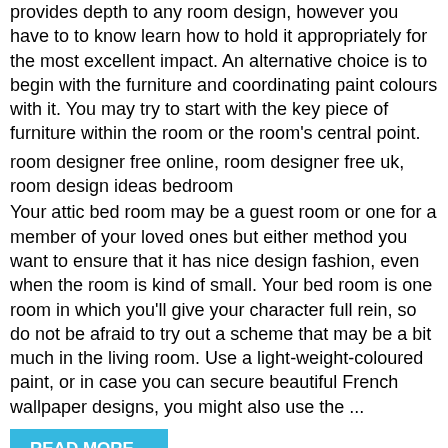provides depth to any room design, however you have to to know learn how to hold it appropriately for the most excellent impact. An alternative choice is to begin with the furniture and coordinating paint colours with it. You may try to start with the key piece of furniture within the room or the room's central point.
room designer free online, room designer free uk, room design ideas bedroom
Your attic bed room may be a guest room or one for a member of your loved ones but either method you want to ensure that it has nice design fashion, even when the room is kind of small. Your bed room is one room in which you'll give your character full rein, so do not be afraid to try out a scheme that may be a bit much in the living room. Use a light-weight-coloured paint, or in case you can secure beautiful French wallpaper designs, you might also use the ...
READ MORE...